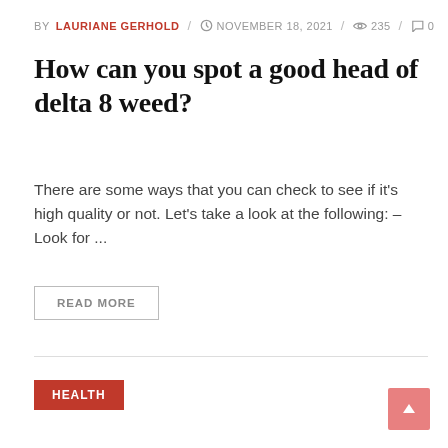BY LAURIANE GERHOLD / NOVEMBER 18, 2021 / 235 / 0
How can you spot a good head of delta 8 weed?
There are some ways that you can check to see if it's high quality or not. Let's take a look at the following: – Look for ...
READ MORE
HEALTH